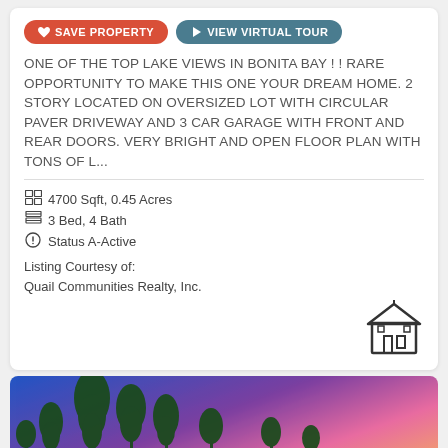SAVE PROPERTY
VIEW VIRTUAL TOUR
ONE OF THE TOP LAKE VIEWS IN BONITA BAY ! ! RARE OPPORTUNITY TO MAKE THIS ONE YOUR DREAM HOME. 2 STORY LOCATED ON OVERSIZED LOT WITH CIRCULAR PAVER DRIVEWAY AND 3 CAR GARAGE WITH FRONT AND REAR DOORS. VERY BRIGHT AND OPEN FLOOR PLAN WITH TONS OF L...
4700 Sqft, 0.45 Acres
3 Bed, 4 Bath
Status A-Active
Listing Courtesy of:
Quail Communities Realty, Inc.
[Figure (photo): Outdoor photo of tall pine trees against a colorful sunset sky with blue, purple, and pink tones. A house rooftop is partially visible at the bottom.]
CHAT WITH AGENT